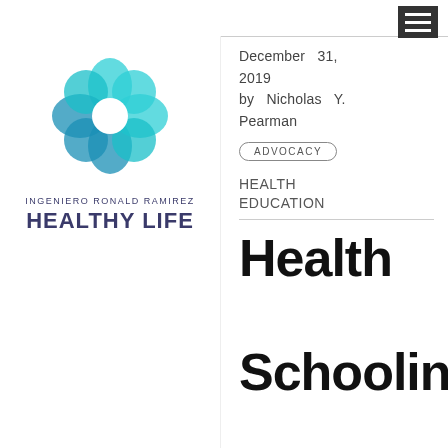[Figure (logo): Teal flower/petal logo made of overlapping circles, arranged in a snowflake/flower pattern]
INGENIERO RONALD RAMIREZ
HEALTHY LIFE
December 31, 2019
by Nicholas Y. Pearman
ADVOCACY
HEALTH EDUCATION
Health Schoolin